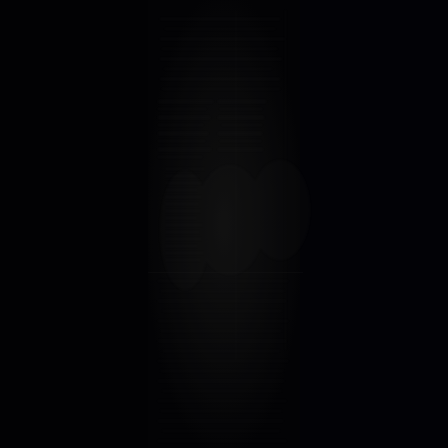[Figure (photo): A very dark, nearly black photograph or scanned document page. The image appears to show some kind of textured surface or document with very low contrast. Dark vertical bands flank the center content area. The central region shows faint, barely visible text or patterns against a near-black background, possibly a deteriorated or severely underexposed photograph of an ancient inscription, monument, or printed page.]